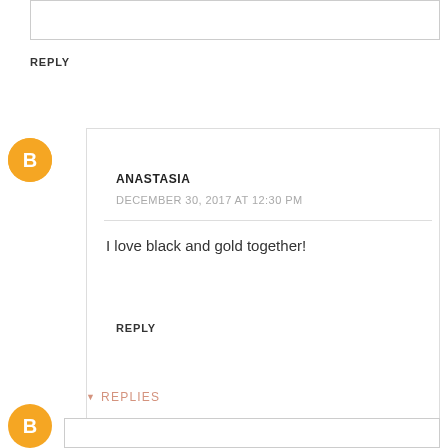REPLY
[Figure (logo): Blogger orange circle logo with B icon]
ANASTASIA
DECEMBER 30, 2017 AT 12:30 PM
I love black and gold together!
REPLY
REPLIES
[Figure (logo): Blogger orange circle logo with B icon (bottom)]